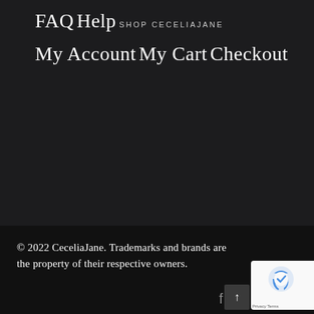FAQ
Help
SHOP CECELIAJANE
My Account
My Cart
Checkout
© 2022 CeceliaJane. Trademarks and brands are the property of their respective owners.